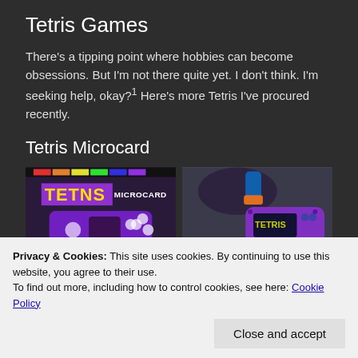Tetris Games
There's a tipping point where hobbies can become obsessions. But I'm not there quite yet. I don't think. I'm seeking help, okay?¹ Here's more Tetris I've procured recently.
Tetris Microcard
[Figure (photo): Two photos of Tetris Microcard handheld game devices]
Privacy & Cookies: This site uses cookies. By continuing to use this website, you agree to their use.
To find out more, including how to control cookies, see here: Cookie Policy